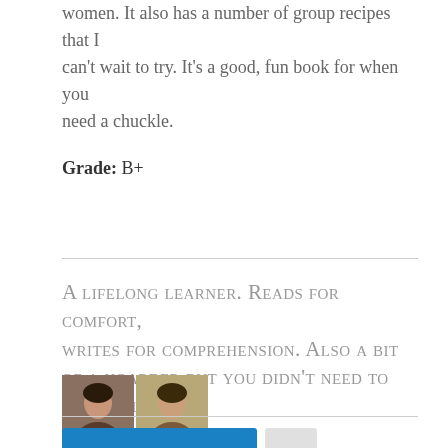women. It also has a number of group recipes that I can't wait to try. It's a good, fun book for when you need a chuckle.
Grade: B+
A lifelong learner. Reads for comfort, writes for comprehension. Also a bit of a hoarder but you didn't need to know that.
[Figure (photo): Two small avatar/profile photos of the author side by side]